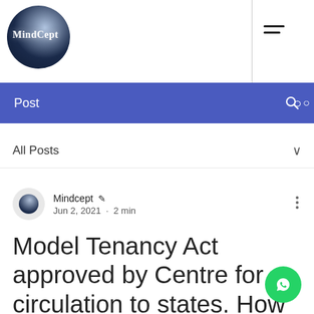MindCept
Post
All Posts
Mindcept ✒ Jun 2, 2021 · 2 min
Model Tenancy Act approved by Centre for circulation to states. How it may benefit